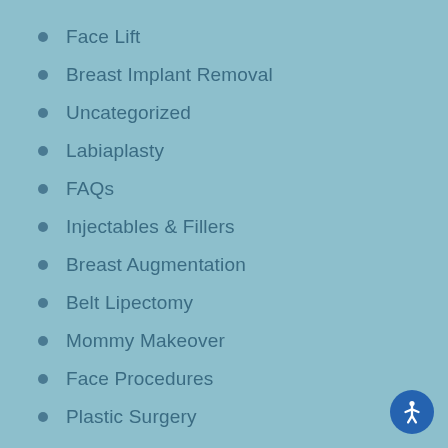Face Lift
Breast Implant Removal
Uncategorized
Labiaplasty
FAQs
Injectables & Fillers
Breast Augmentation
Belt Lipectomy
Mommy Makeover
Face Procedures
Plastic Surgery
Rhinoplasty
Body Procedures